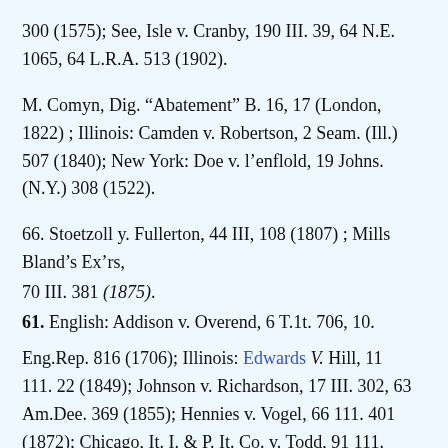300 (1575); See, Isle v. Cranby, 190 III. 39, 64 N.E. 1065, 64 L.R.A. 513 (1902).
M. Comyn, Dig. “Abatement” B. 16, 17 (London, 1822) ; Illinois: Camden v. Robertson, 2 Seam. (Ill.) 507 (1840); New York: Doe v. l’enflold, 19 Johns. (N.Y.) 308 (1522).
66. Stoetzoll y. Fullerton, 44 III, 108 (1807) ; Mills Bland’s Ex’rs, 70 III. 381 (1875).
61. English: Addison v. Overend, 6 T.1t. 706, 10.
Eng.Rep. 816 (1706); Illinois: Edwards V. Hill, 11 111. 22 (1849); Johnson v. Richardson, 17 III. 302, 63 Am.Dee. 369 (1855); Hennies v. Vogel, 66 111. 401 (1872); Chicago, It. I. & P. It. Co. v. Todd, 91 111.